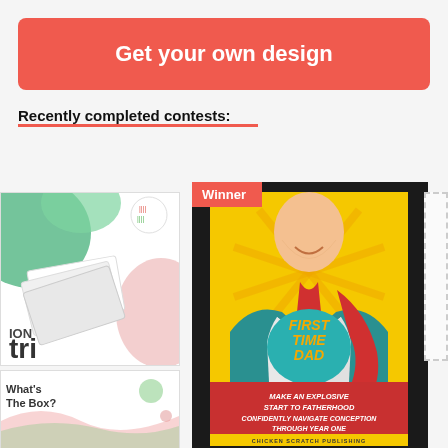Get your own design
Recently completed contests:
[Figure (screenshot): Left top card showing partial 'tri' logo/branding design with green shapes and white business cards]
[Figure (screenshot): Left bottom card showing partial design with 'What's The Box?' text and pink/green shapes]
[Figure (illustration): Main winner book cover design for 'First Time Dad' in pop-art superhero style. Man in suit opening shirt to reveal 'FIRST TIME DAD' text. Subtitle: MAKE AN EXPLOSIVE START TO FATHERHOOD CONFIDENTLY NAVIGATE CONCEPTION THROUGH YEAR ONE. Publisher: CHICKEN SCRATCH PUBLISHING]
Winner